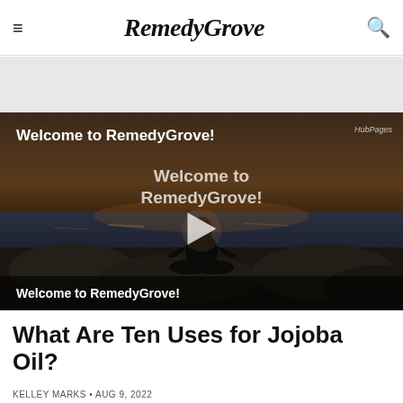RemedyGrove
[Figure (screenshot): Video thumbnail showing a person silhouetted at a beach/rocky shoreline at dusk, with text overlay reading 'Welcome to RemedyGrove!' and a play button in the center. Bottom bar text reads 'Welcome to RemedyGrove!'. HubPages watermark visible in top right.]
What Are Ten Uses for Jojoba Oil?
KELLEY MARKS • AUG 9, 2022